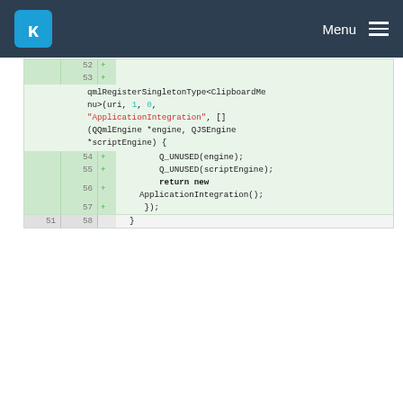KDE Menu
[Figure (screenshot): Code diff view showing lines 52-58 with added lines highlighted in green. Lines 52-57 are additions (+). The code shows qmlRegisterSingletonType<ClipboardMenu> call with ApplicationIntegration string, Q_UNUSED calls, return new ApplicationIntegration(), and });]
Please register or sign in to comment